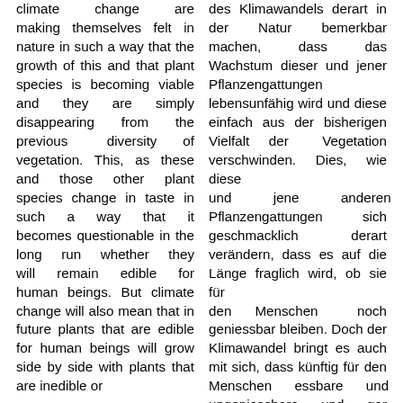climate change are making themselves felt in nature in such a way that the growth of this and that plant species is becoming viable and they are simply disappearing from the previous diversity of vegetation. This, as these and those other plant species change in taste in such a way that it becomes questionable in the long run whether they will remain edible for human beings. But climate change will also mean that in future plants that are edible for human beings will grow side by side with plants that are inedible or
des Klimawandels derart in der Natur bemerkbar machen, dass das Wachstum dieser und jener Pflanzengattungen lebensunfähig wird und diese einfach aus der bisherigen Vielfalt der Vegetation verschwinden. Dies, wie diese und jene anderen Pflanzengattungen sich geschmacklich derart verändern, dass es auf die Länge fraglich wird, ob sie für den Menschen noch geniessbar bleiben. Doch der Klimawandel bringt es auch mit sich, dass künftig für den Menschen essbare und ungeniessbare und gar giftige Pflanzen nebeneinander wachsen, die täuschend